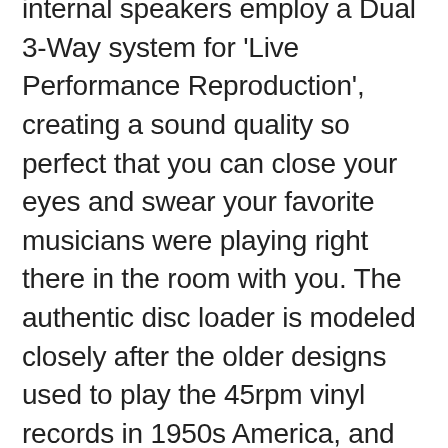internal speakers employ a Dual 3-Way system for 'Live Performance Reproduction', creating a sound quality so perfect that you can close your eyes and swear your favorite musicians were playing right there in the room with you. The authentic disc loader is modeled closely after the older designs used to play the 45rpm vinyl records in 1950s America, and 100-capacity magazine lets you fill the Harley-Davidson to the brim with albums of your choice; allowing you to enjoy your favorite artists in perfect quality from the comfort of your own home. It's also possible to link the Harley-Davidson to an existing in-house Integrated Music System, such